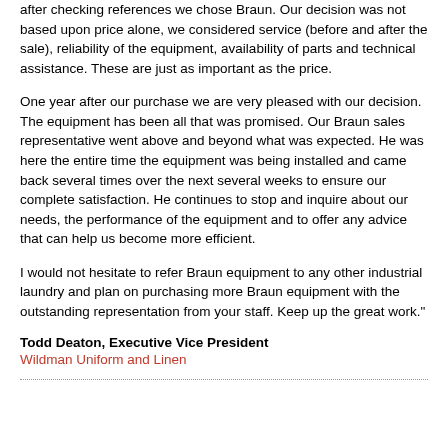after checking references we chose Braun. Our decision was not based upon price alone, we considered service (before and after the sale), reliability of the equipment, availability of parts and technical assistance. These are just as important as the price.
One year after our purchase we are very pleased with our decision. The equipment has been all that was promised. Our Braun sales representative went above and beyond what was expected. He was here the entire time the equipment was being installed and came back several times over the next several weeks to ensure our complete satisfaction. He continues to stop and inquire about our needs, the performance of the equipment and to offer any advice that can help us become more efficient.
I would not hesitate to refer Braun equipment to any other industrial laundry and plan on purchasing more Braun equipment with the outstanding representation from your staff. Keep up the great work."
Todd Deaton, Executive Vice President
Wildman Uniform and Linen